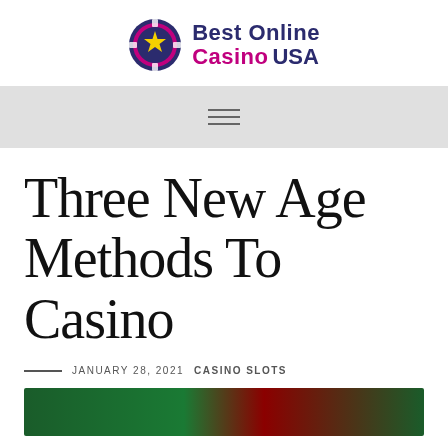[Figure (logo): Best Online Casino USA logo with purple and magenta text and a stylized casino chip icon with a star]
[Figure (other): Navigation bar with hamburger menu icon (three horizontal lines)]
Three New Age Methods To Casino
JANUARY 28, 2021  CASINO SLOTS
[Figure (photo): Bottom cropped image of a green casino table with numbers visible]